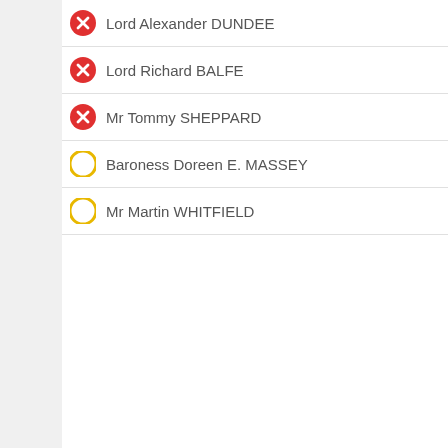Lord Alexander DUNDEE
Lord Richard BALFE
Mr Tommy SHEPPARD
Baroness Doreen E. MASSEY
Mr Martin WHITFIELD